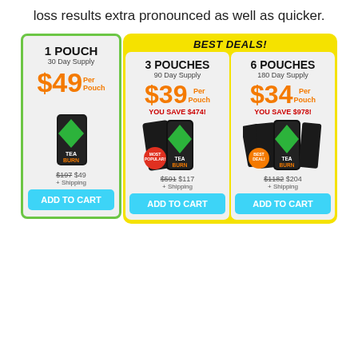loss results extra pronounced as well as quicker.
[Figure (infographic): Three-column product pricing table for Tea Burn supplement. Left column: 1 POUCH, 30 Day Supply, $49 Per Pouch, strikethrough $197, $49 + Shipping, ADD TO CART (green border). Middle+Right columns under BEST DEALS! yellow banner: 3 POUCHES 90 Day Supply $39 Per Pouch YOU SAVE $474! strikethrough $591 $117 + Shipping ADD TO CART; 6 POUCHES 180 Day Supply $34 Per Pouch YOU SAVE $978! strikethrough $1182 $204 + Shipping ADD TO CART.]